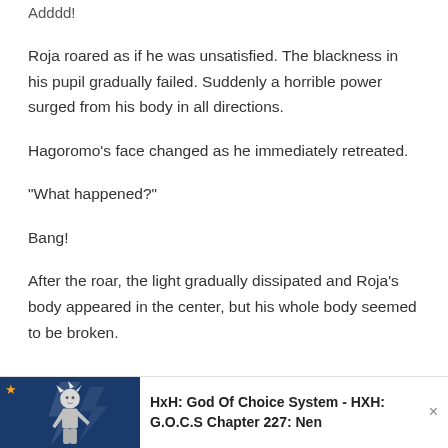Adddd!
Roja roared as if he was unsatisfied. The blackness in his pupil gradually failed. Suddenly a horrible power surged from his body in all directions.
Hagoromo's face changed as he immediately retreated.
“What happened?”
Bang!
After the roar, the light gradually dissipated and Roja’s body appeared in the center, but his whole body seemed to be broken.
[Figure (illustration): Promotional banner with anime character (white-haired fighter) on blue background with star icon, and text reading 'HxH: God Of Choice System - HXH: G.O.C.S Chapter 227: Nen' with a close button.]